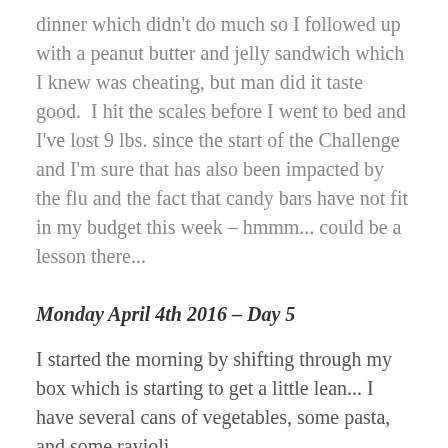dinner which didn't do much so I followed up with a peanut butter and jelly sandwich which I knew was cheating, but man did it taste good.  I hit the scales before I went to bed and I've lost 9 lbs. since the start of the Challenge and I'm sure that has also been impacted by the flu and the fact that candy bars have not fit in my budget this week – hmmm... could be a lesson there...
Monday April 4th 2016 – Day 5
I started the morning by shifting through my box which is starting to get a little lean... I have several cans of vegetables, some pasta, and some ravioli